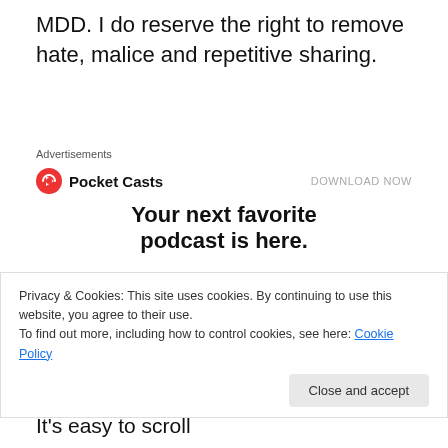MDD. I do reserve the right to remove hate, malice and repetitive sharing.
Advertisements
[Figure (screenshot): Pocket Casts advertisement banner with logo, 'DOWNLOAD NOW' link, headline 'Your next favorite podcast is here.' and app screenshot showing 'Up Next' interface]
Privacy & Cookies: This site uses cookies. By continuing to use this website, you agree to their use.
To find out more, including how to control cookies, see here: Cookie Policy
anything that bothers you in any way. It's easy to scroll